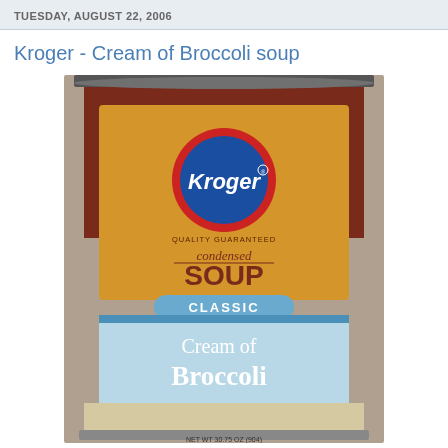TUESDAY, AUGUST 22, 2006
Kroger - Cream of Broccoli soup
[Figure (photo): Photograph of a Kroger brand condensed soup can with label showing Kroger logo (blue circle with red ring and white text), 'QUALITY GUARANTEED', 'condensed SOUP', 'CLASSIC' banner, and 'Cream of Broccoli' on a light blue lower label section. The can has a dark brown/maroon upper label area and beige lower metal section. Net weight text partially visible at bottom.]